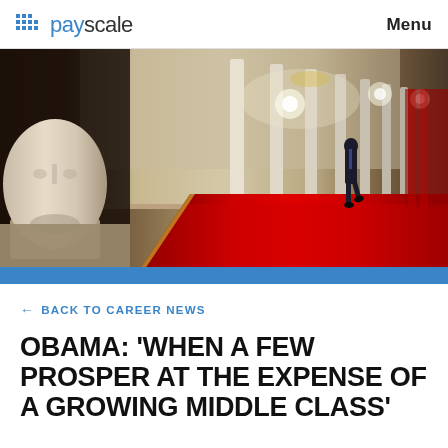payscale  Menu
[Figure (photo): A person in a dark suit walking through an ornate White House corridor with red carpet, white columns, chandeliers, and a marble bust in the foreground. A blue bar appears at the bottom of the image.]
← BACK TO CAREER NEWS
OBAMA: 'WHEN A FEW PROSPER AT THE EXPENSE OF A GROWING MIDDLE CLASS'